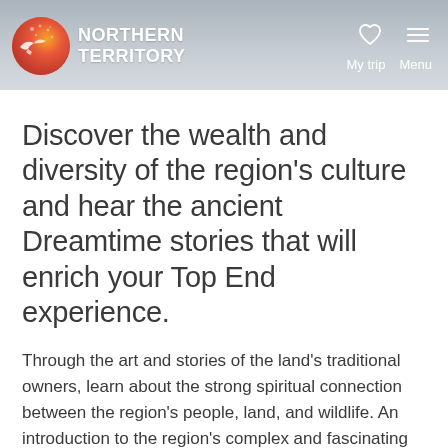NORTHERN TERRITORY | My trip | Menu
Discover the wealth and diversity of the region’s culture and hear the ancient Dreamtime stories that will enrich your Top End experience.
Through the art and stories of the land’s traditional owners, learn about the strong spiritual connection between the region’s people, land, and wildlife. An introduction to the region’s complex and fascinating culture and history is vital to any visit to the Top End.
Art